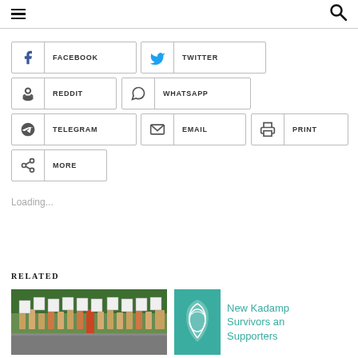Menu | Search
FACEBOOK
TWITTER
REDDIT
WHATSAPP
TELEGRAM
EMAIL
PRINT
MORE
Loading...
RELATED
[Figure (photo): People holding protest signs, crowd outdoors]
[Figure (logo): New Kadamp Survivors and Supporters logo with teal leaf design, text: New Kadamp Survivors and Supporters]